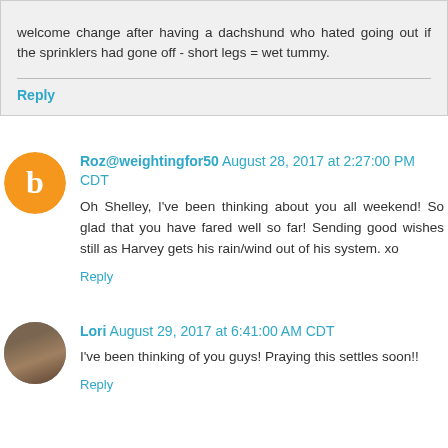welcome change after having a dachshund who hated going out if the sprinklers had gone off - short legs = wet tummy.
Reply
Roz@weightingfor50  August 28, 2017 at 2:27:00 PM CDT
Oh Shelley, I've been thinking about you all weekend! So glad that you have fared well so far! Sending good wishes still as Harvey gets his rain/wind out of his system. xo
Reply
Lori  August 29, 2017 at 6:41:00 AM CDT
I've been thinking of you guys! Praying this settles soon!!
Reply